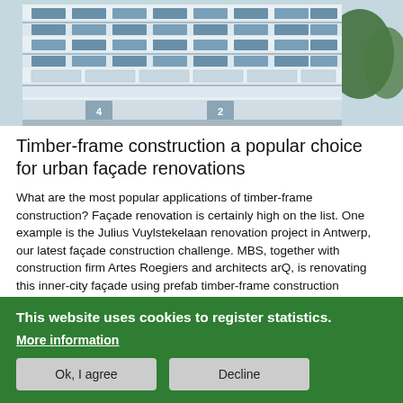[Figure (photo): Exterior photo of a multi-storey residential building with white facade, balconies, and large windows. Building numbers 4 and 2 visible at ground level.]
Timber-frame construction a popular choice for urban façade renovations
What are the most popular applications of timber-frame construction? Façade renovation is certainly high on the list. One example is the Julius Vuylstekelaan renovation project in Antwerp, our latest façade construction challenge. MBS, together with construction firm Artes Roegiers and architects arQ, is renovating this inner-city façade using prefab timber-frame construction components, on behalf of the social housing company ABC.
This website uses cookies to register statistics.
More information
Ok, I agree
Decline